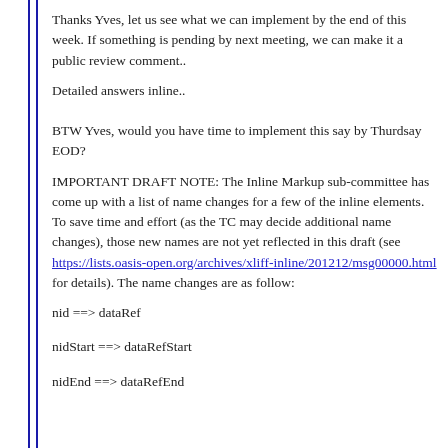Thanks Yves, let us see what we can implement by the end of this week. If something is pending by next meeting, we can make it a public review comment..
Detailed answers inline..
BTW Yves, would you have time to implement this say by Thurdsay EOD?
IMPORTANT DRAFT NOTE: The Inline Markup sub-committee has come up with a list of name changes for a few of the inline elements. To save time and effort (as the TC may decide additional name changes), those new names are not yet reflected in this draft (see https://lists.oasis-open.org/archives/xliff-inline/201212/msg00000.html for details). The name changes are as follow:
nid ==> dataRef
nidStart ==> dataRefStart
nidEnd ==> dataRefEnd